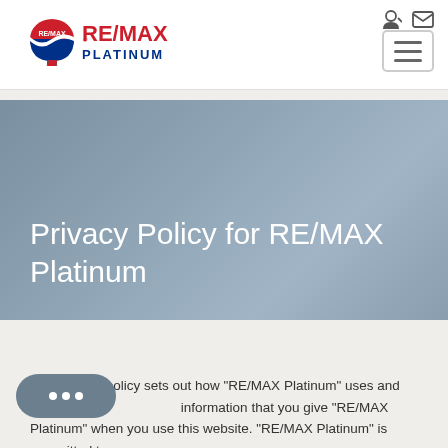[Figure (logo): RE/MAX Platinum logo with hot air balloon icon and text]
[Figure (other): Navigation icons: login and email icons top right, hamburger menu button]
Privacy Policy for RE/MAX Platinum
This privacy policy sets out how "RE/MAX Platinum" uses and [protects any] information that you give "RE/MAX Platinum" when you use this website. "RE/MAX Platinum" is committed to